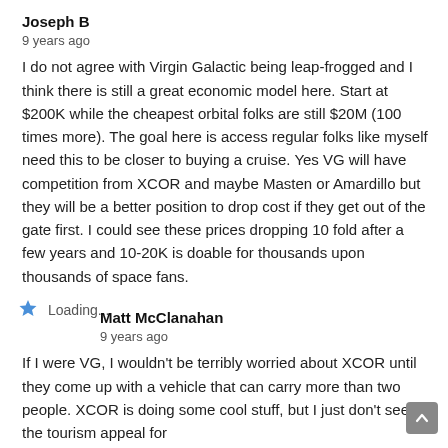Joseph B
9 years ago
I do not agree with Virgin Galactic being leap-frogged and I think there is still a great economic model here. Start at $200K while the cheapest orbital folks are still $20M (100 times more). The goal here is access regular folks like myself need this to be closer to buying a cruise. Yes VG will have competition from XCOR and maybe Masten or Amardillo but they will be a better position to drop cost if they get out of the gate first. I could see these prices dropping 10 fold after a few years and 10-20K is doable for thousands upon thousands of space fans.
Loading...
Matt McClanahan
9 years ago
If I were VG, I wouldn't be terribly worried about XCOR until they come up with a vehicle that can carry more than two people. XCOR is doing some cool stuff, but I just don't see the tourism appeal for